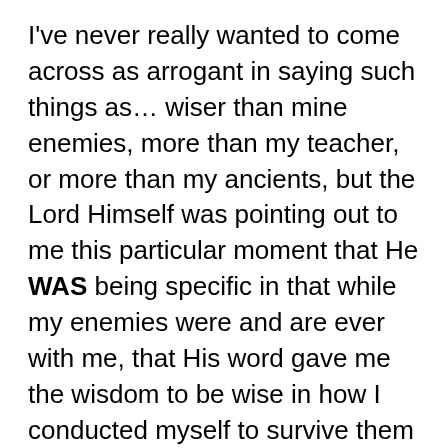I've never really wanted to come across as arrogant in saying such things as… wiser than mine enemies, more than my teacher, or more than my ancients, but the Lord Himself was pointing out to me this particular moment that He WAS being specific in that while my enemies were and are ever with me, that His word gave me the wisdom to be wise in how I conducted myself to survive them and to live despite them. He gave me understanding to help me see while some teachers meant well, that HE was my teacher in appropriate living, and the discretion to simply grow quietly with Him. And He protected me from the